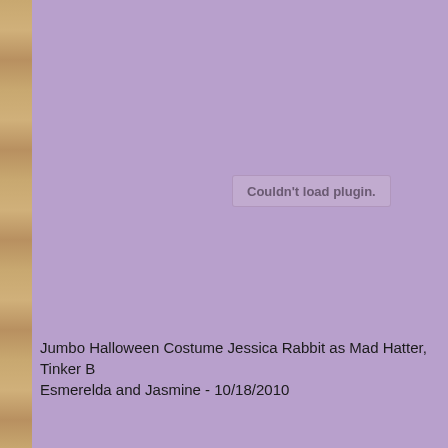[Figure (other): Purple background with a left decorative strip in warm gold/brown tones and a centered 'Couldn't load plugin.' message box indicating a failed media plugin embed.]
Jumbo Halloween Costume Jessica Rabbit as Mad Hatter, Tinker B Esmerelda and Jasmine - 10/18/2010